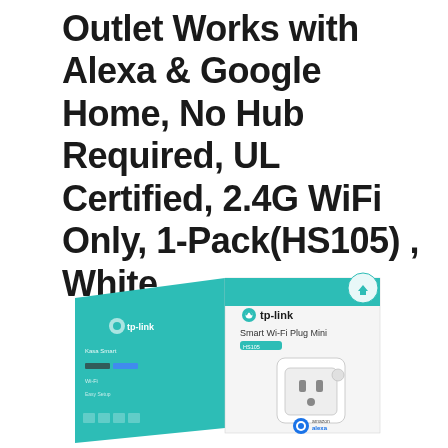Outlet Works with Alexa & Google Home, No Hub Required, UL Certified, 2.4G WiFi Only, 1-Pack(HS105) , White
[Figure (photo): TP-Link Smart Wi-Fi Plug Mini (HS105) product box with amazon alexa logo. The teal and white retail box shows the TP-Link logo, 'Smart Wi-Fi Plug Mini' text, and a photo of the compact white smart plug outlet on the front of the packaging.]